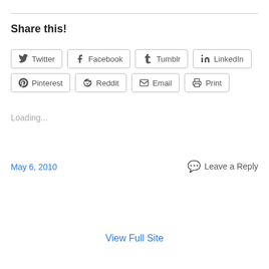Share this!
Twitter  Facebook  Tumblr  LinkedIn  Pinterest  Reddit  Email  Print
Loading...
May 6, 2010
Leave a Reply
View Full Site